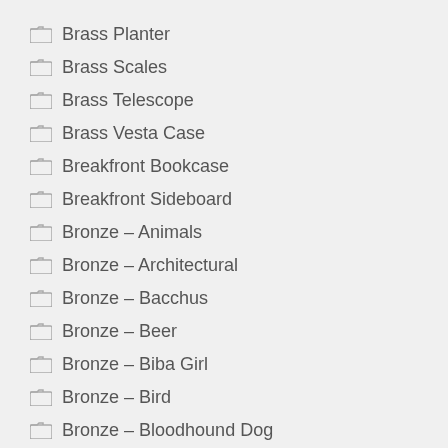Brass Planter
Brass Scales
Brass Telescope
Brass Vesta Case
Breakfront Bookcase
Breakfront Sideboard
Bronze – Animals
Bronze – Architectural
Bronze – Bacchus
Bronze – Beer
Bronze – Biba Girl
Bronze – Bird
Bronze – Bloodhound Dog